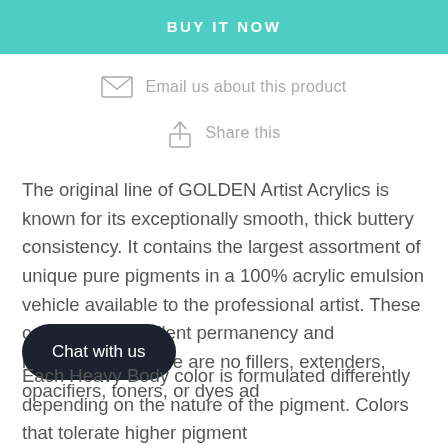[Figure (other): BUY IT NOW teal/turquoise button banner]
Email us about this product
Share this
The original line of GOLDEN Artist Acrylics is known for its exceptionally smooth, thick buttery consistency. It contains the largest assortment of unique pure pigments in a 100% acrylic emulsion vehicle available to the professional artist. These colors offer excellent permanency and lightfastness. There are no fillers, extenders, opacifiers, toners, or dyes ad
[Figure (other): Chat with us dark pill-shaped button overlay]
Each Heavy Body color is formulated differently depending on the nature of the pigment. Colors that tolerate higher pigment